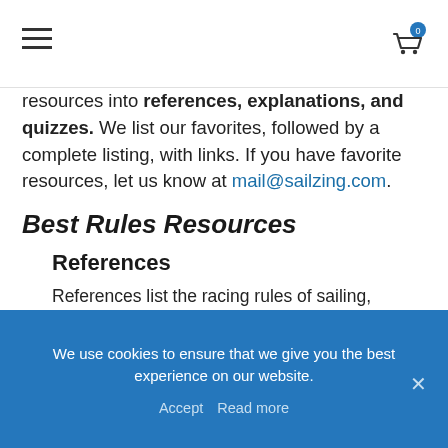Navigation menu and cart icon
resources into references, explanations, and quizzes. We list our favorites, followed by a complete listing, with links. If you have favorite resources, let us know at mail@sailzing.com.
Best Rules Resources
References
References list the racing rules of sailing, without much explanation. Our two best sources are:
2017-2020 Racing Rules of Sailing (ISAF)
We use cookies to ensure that we give you the best experience on our website.
Accept   Read more